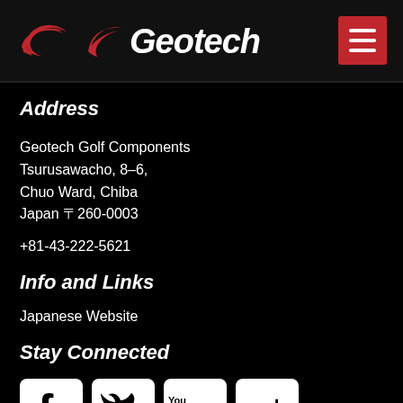[Figure (logo): Geotech logo with red swoosh icon and italic white 'Geotech' text on dark header, with red hamburger menu button on the right]
Address
Geotech Golf Components
Tsurusawacho, 8–6,
Chuo Ward, Chiba
Japan 〒260-0003
+81-43-222-5621
Info and Links
Japanese Website
Stay Connected
[Figure (illustration): Social media icons row: Facebook, Twitter, YouTube, Google+]